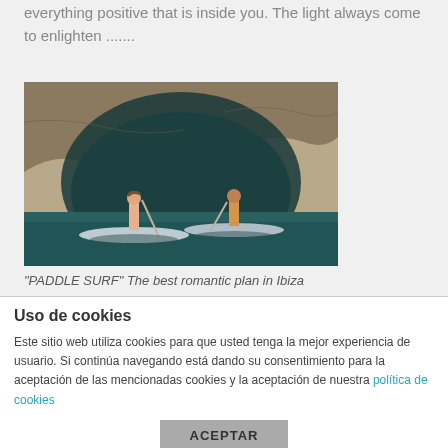everything positive that is inside you. The light always come to enlighten .......
[Figure (photo): Two people standing on paddleboards inside a sea cave with dark turquoise water, rocky cave ceiling overhead]
“PADDLE SURF” The best romantic plan in Ibiza
Uso de cookies
Este sitio web utiliza cookies para que usted tenga la mejor experiencia de usuario. Si continúa navegando está dando su consentimiento para la aceptación de las mencionadas cookies y la aceptación de nuestra política de cookies